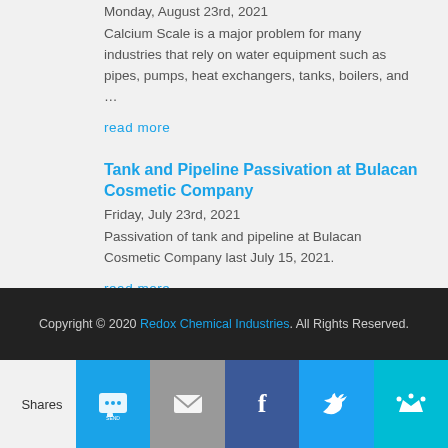Monday, August 23rd, 2021
Calcium Scale is a major problem for many industries that rely on water equipment such as pipes, pumps, heat exchangers, tanks, boilers, and …
read more
Tank and Pipeline Passivation at Bulacan Cosmetic Company
Friday, July 23rd, 2021
Passivation of tank and pipeline at Bulacan Cosmetic Company last July 15, 2021.
read more
Copyright © 2020 Redox Chemical Industries. All Rights Reserved.